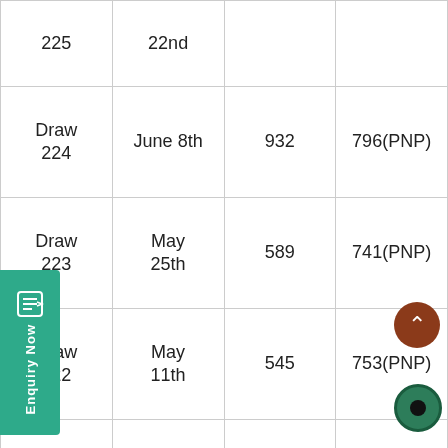| Draw | Date | Invitations Issued | Lowest CRS Score |
| --- | --- | --- | --- |
| Draw 225 | 22nd |  |  |
| Draw 224 | June 8th | 932 | 796(PNP) |
| Draw 223 | May 25th | 589 | 741(PNP) |
| Draw 222 | May 11th | 545 | 753(PNP) |
| Draw 221 | April 27 | 829 | 772(PNP) |
| Draw 220 | April 13 | 787 | 782(PNP) |